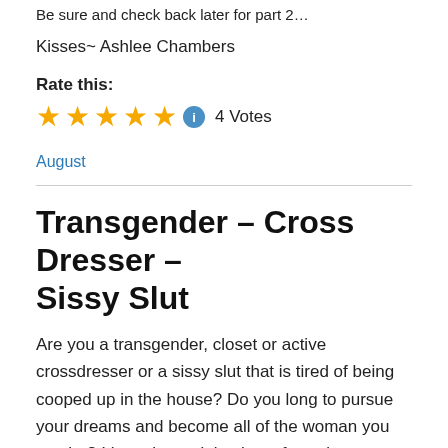Be sure and check back later for part 2…
Kisses~ Ashlee Chambers
Rate this:
★★★★★ ℹ 4 Votes
August
Transgender – Cross Dresser – Sissy Slut
Are you a transgender, closet or active crossdresser or a sissy slut that is tired of being cooped up in the house? Do you long to pursue your dreams and become all of the woman you can be? I have been doing lots of sessions